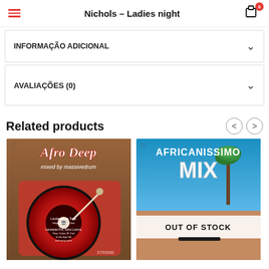Nichols – Ladies night
INFORMAÇÃO ADICIONAL
AVALIAÇÕES (0)
Related products
[Figure (photo): Afro Deep - mixed by massivedrum album cover showing a vinyl record player on wood background]
[Figure (photo): Africanissimo Mix album cover with beach scene and OUT OF STOCK overlay]